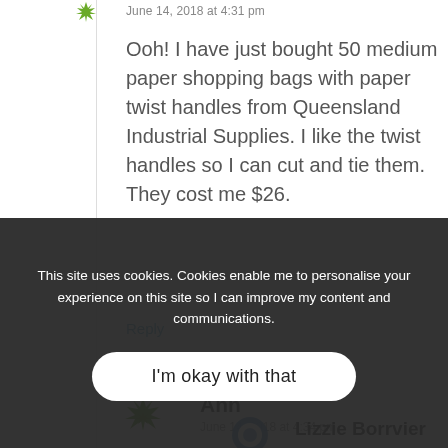[Figure (illustration): Small green snowflake/leaf avatar icon]
June 14, 2018 at 4:31 pm
Ooh! I have just bought 50 medium paper shopping bags with paper twist handles from Queensland Industrial Supplies. I like the twist handles so I can cut and tie them. They cost me $26.
Reply
[Figure (illustration): Green snowflake/leaf avatar icon for Ann]
Ann
June 14, 2018 at 4:34 pm
[Figure (illustration): Blue circular avatar for Lizzie Borrvier]
Lizzie Borrvier
This site uses cookies. Cookies enable me to personalise your experience on this site so I can improve my content and communications.
I'm okay with that